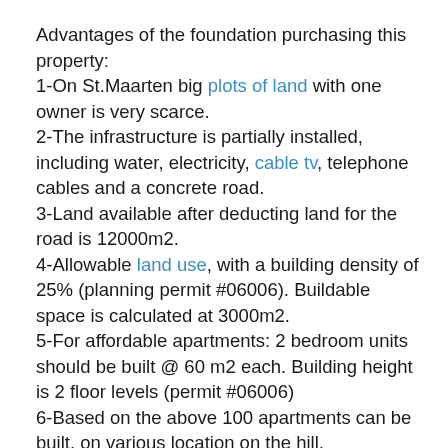Advantages of the foundation purchasing this property:
1-On St.Maarten big plots of land with one owner is very scarce.
2-The infrastructure is partially installed, including water, electricity, cable tv, telephone cables and a concrete road.
3-Land available after deducting land for the road is 12000m2.
4-Allowable land use, with a building density of 25% (planning permit #06006). Buildable space is calculated at 3000m2.
5-For affordable apartments: 2 bedroom units should be built @ 60 m2 each. Building height is 2 floor levels (permit #06006)
6-Based on the above 100 apartments can be built, on various location on the hill.
7-An affordable rental price of FLS700,- per unit could be